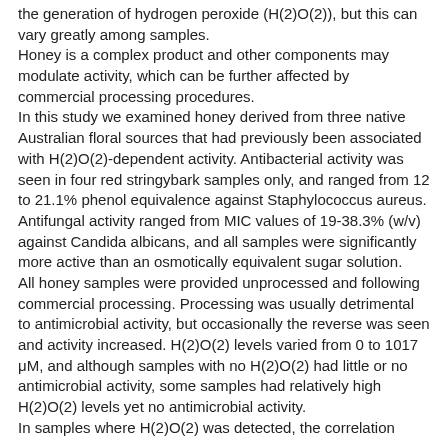the generation of hydrogen peroxide (H(2)O(2)), but this can vary greatly among samples. Honey is a complex product and other components may modulate activity, which can be further affected by commercial processing procedures. In this study we examined honey derived from three native Australian floral sources that had previously been associated with H(2)O(2)-dependent activity. Antibacterial activity was seen in four red stringybark samples only, and ranged from 12 to 21.1% phenol equivalence against Staphylococcus aureus. Antifungal activity ranged from MIC values of 19-38.3% (w/v) against Candida albicans, and all samples were significantly more active than an osmotically equivalent sugar solution. All honey samples were provided unprocessed and following commercial processing. Processing was usually detrimental to antimicrobial activity, but occasionally the reverse was seen and activity increased. H(2)O(2) levels varied from 0 to 1017 μM, and although samples with no H(2)O(2) had little or no antimicrobial activity, some samples had relatively high H(2)O(2) levels yet no antimicrobial activity. In samples where H(2)O(2) was detected, the correlation